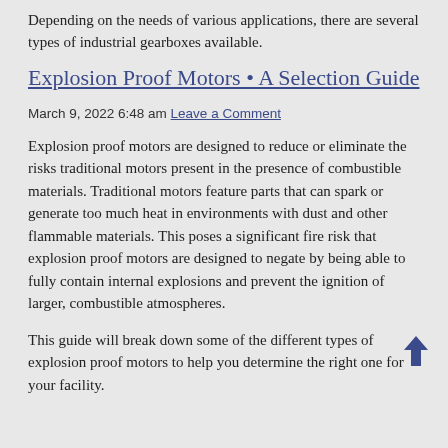Depending on the needs of various applications, there are several types of industrial gearboxes available.
Explosion Proof Motors • A Selection Guide
March 9, 2022 6:48 am Leave a Comment
Explosion proof motors are designed to reduce or eliminate the risks traditional motors present in the presence of combustible materials. Traditional motors feature parts that can spark or generate too much heat in environments with dust and other flammable materials. This poses a significant fire risk that explosion proof motors are designed to negate by being able to fully contain internal explosions and prevent the ignition of larger, combustible atmospheres.
This guide will break down some of the different types of explosion proof motors to help you determine the right one for your facility.